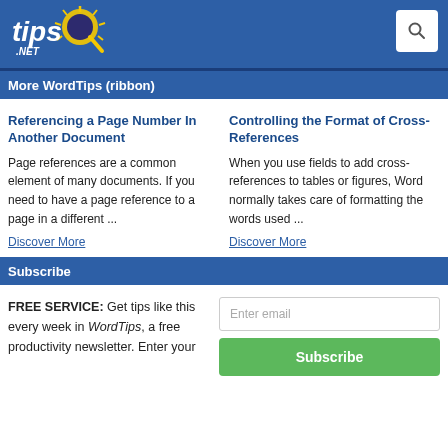tips.NET
More WordTips (ribbon)
Referencing a Page Number In Another Document
Page references are a common element of many documents. If you need to have a page reference to a page in a different ...
Discover More
Controlling the Format of Cross-References
When you use fields to add cross-references to tables or figures, Word normally takes care of formatting the words used ...
Discover More
Subscribe
FREE SERVICE: Get tips like this every week in WordTips, a free productivity newsletter. Enter your